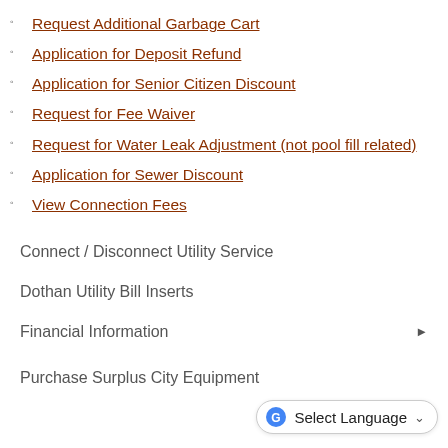Request Additional Garbage Cart
Application for Deposit Refund
Application for Senior Citizen Discount
Request for Fee Waiver
Request for Water Leak Adjustment (not pool fill related)
Application for Sewer Discount
View Connection Fees
Connect / Disconnect Utility Service
Dothan Utility Bill Inserts
Financial Information
Purchase Surplus City Equipment